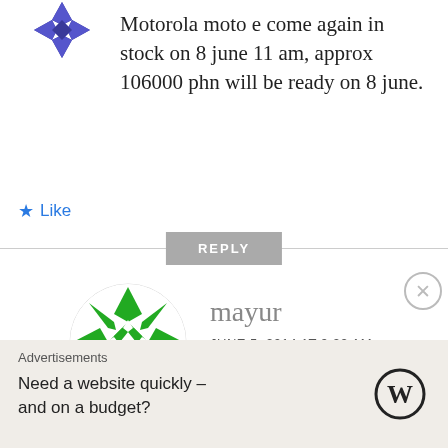[Figure (logo): Blue geometric snowflake/star avatar icon at top left]
Motorola moto e come again in stock on 8 june 11 am, approx 106000 phn will be ready on 8 june.
★ Like
REPLY
[Figure (logo): Green geometric snowflake avatar icon for user mayur]
mayur
JUNE 5, 2014 AT 9:22 AM
where do u get this
Advertisements
Need a website quickly – and on a budget?